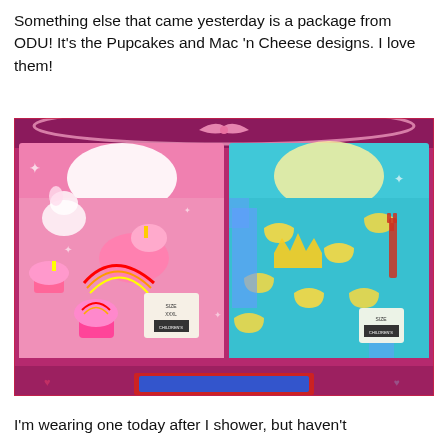Something else that came yesterday is a package from ODU! It's the Pupcakes and Mac 'n Cheese designs. I love them!
[Figure (photo): Photo of two folded children's pajama tops displayed on a pink surface. Left top is pink with Pupcakes design (dogs, cupcakes, rainbows). Right top is turquoise/teal with Mac 'n Cheese design (macaroni noodles, crowns, utensils). Both have price tags. Background has sparkle overlays and heart/bow decorative elements.]
I'm wearing one today after I shower, but haven't